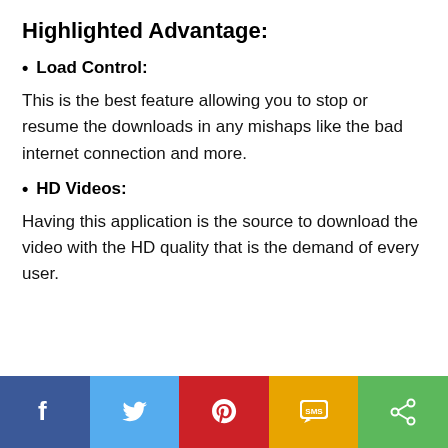Highlighted Advantage:
Load Control:
This is the best feature allowing you to stop or resume the downloads in any mishaps like the bad internet connection and more.
HD Videos:
Having this application is the source to download the video with the HD quality that is the demand of every user.
Social share bar: Facebook, Twitter, Pinterest, SMS, Share